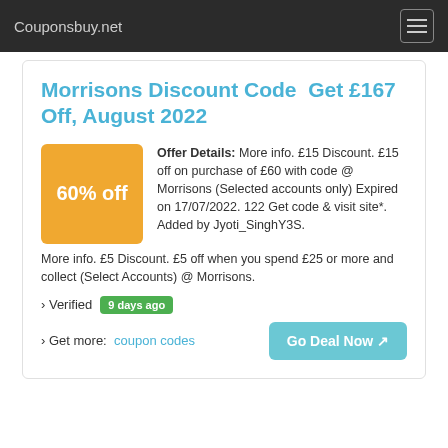Couponsbuy.net
Morrisons Discount Code  Get £167 Off, August 2022
Offer Details: More info. £15 Discount. £15 off on purchase of £60 with code @ Morrisons (Selected accounts only) Expired on 17/07/2022. 122 Get code & visit site*. Added by Jyoti_SinghY3S. More info. £5 Discount. £5 off when you spend £25 or more and collect (Select Accounts) @ Morrisons.
› Verified  9 days ago
› Get more:  coupon codes